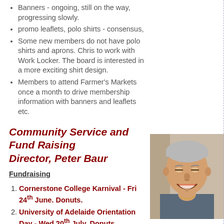Banners - ongoing, still on the way, progressing slowly.
promo leaflets, polo shirts - consensus,
Some new members do not have polo shirts and aprons. Chris to work with Work Locker. The board is interested in a more exciting shirt design.
Members to attend Farmer's Markets once a month to drive membership information with banners and leaflets etc.
Community Service and Fund Raising Director, Peter Baur
Fundraising
Cornerstone College Karnival - Fri 24th June. Donuts.
University of Adelaide Orientation Day - Wed 20th July. Donuts. Adelaide Rotaract Club to take this on
[Figure (photo): Headshot photo of Peter Baur, a man with grey/white hair, smiling broadly]